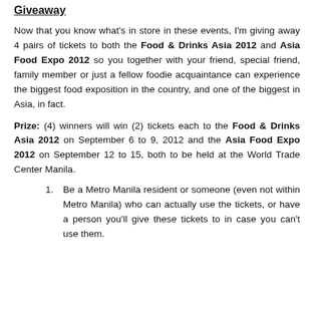Giveaway
Now that you know what's in store in these events, I'm giving away 4 pairs of tickets to both the Food & Drinks Asia 2012 and Asia Food Expo 2012 so you together with your friend, special friend, family member or just a fellow foodie acquaintance can experience the biggest food exposition in the country, and one of the biggest in Asia, in fact.
Prize: (4) winners will win (2) tickets each to the Food & Drinks Asia 2012 on September 6 to 9, 2012 and the Asia Food Expo 2012 on September 12 to 15, both to be held at the World Trade Center Manila.
Be a Metro Manila resident or someone (even not within Metro Manila) who can actually use the tickets, or have a person you'll give these tickets to in case you can't use them.